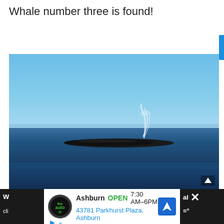Whale number three is found!
[Figure (photo): A whale surfacing in open blue ocean water with clear blue sky. The whale's dark back is visible above the water surface with a blow/spout of water vapor visible.]
Ashburn OPEN 7:30 AM–6PM 43781 Parkhurst Plaza, Ashburn